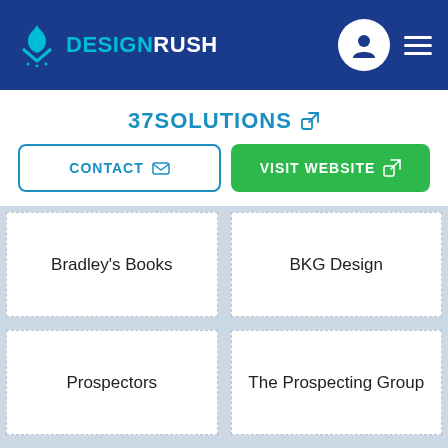DESIGNRUSH
37SOLUTIONS
CONTACT
VISIT WEBSITE
Bradley's Books
BKG Design
Prospectors
The Prospecting Group
Road Review
Hazuza's Greenhouse